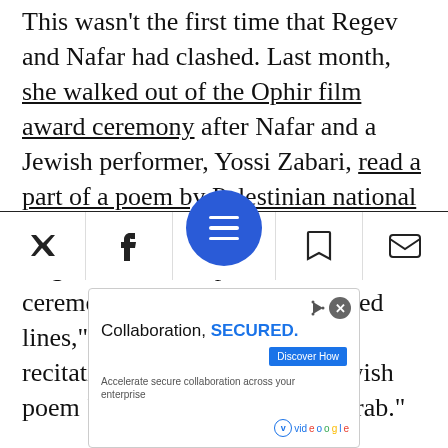This wasn't the first time that Regev and Nafar had clashed. Last month, she walked out of the Ophir film award ceremony after Nafar and a Jewish performer, Yossi Zabari, read a part of a poem by Palestinian national poet Mahmoud Darwish on stage. Regev later told reporters that the ceremony had "crossed several red lines," noting specifically the recitation of lines from the Darwish poem “Write it down, I am an Arab.”
In her letter to Mayor Yahav, she specifically
[Figure (screenshot): Mobile web toolbar with Twitter, Facebook, hamburger menu (blue circle), bookmark, and mail icons, plus an advertisement banner for 'Collaboration, SECURED.' with Discover How button and Vidoogle branding.]